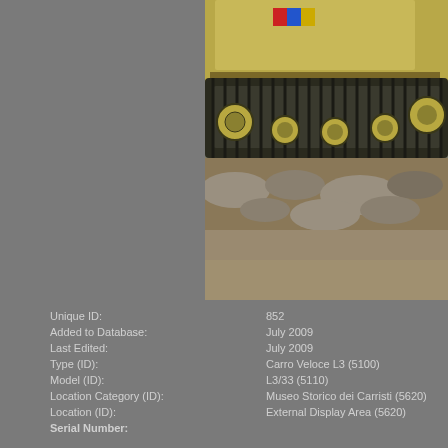[Figure (photo): Close-up photograph of a Carro Veloce L3/33 Italian tankette on outdoor display, showing the track mechanism, yellow-green military paint, colored flag markings (red, blue, yellow), and rocky ground beneath.]
| Unique ID: | 852 |
| Added to Database: | July 2009 |
| Last Edited: | July 2009 |
| Type (ID): | Carro Veloce L3 (5100) |
| Model (ID): | L3/33 (5110) |
| Location Category (ID): | Museo Storico dei Carristi (5620) |
| Location (ID): | External Display Area (5620) |
| Serial Number: |  |